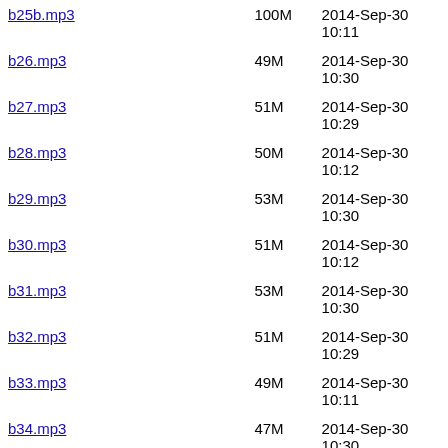| Name | Size | Date |
| --- | --- | --- |
| b25b.mp3 | 100M | 2014-Sep-30 10:11 |
| b26.mp3 | 49M | 2014-Sep-30 10:30 |
| b27.mp3 | 51M | 2014-Sep-30 10:29 |
| b28.mp3 | 50M | 2014-Sep-30 10:12 |
| b29.mp3 | 53M | 2014-Sep-30 10:30 |
| b30.mp3 | 51M | 2014-Sep-30 10:12 |
| b31.mp3 | 53M | 2014-Sep-30 10:30 |
| b32.mp3 | 51M | 2014-Sep-30 10:29 |
| b33.mp3 | 49M | 2014-Sep-30 10:11 |
| b34.mp3 | 47M | 2014-Sep-30 10:30 |
| c01.mp3 | 47M | 2014-Sep-30 10:11 |
| c02.mp3 | 44M | 2014-Sep-30 10:12 |
| c03.mp3 | 49M | 2014-Sep-30 10:12 |